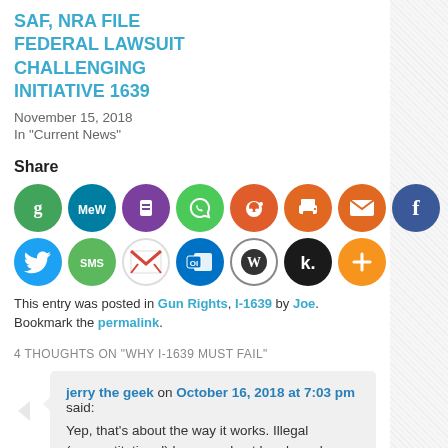SAF, NRA FILE FEDERAL LAWSUIT CHALLENGING INITIATIVE 1639
November 15, 2018
In "Current News"
Share
[Figure (infographic): Two rows of social media sharing icons: Getpocket (green), MeWe (teal), Paaper (purple), WhatsApp (green), Reddit (orange-red), Print (orange), Email (orange), Facebook (blue); Twitter (blue), SMS (green), Gmail (red/white), Outlook (blue), WordPress (black/white), Klout (black), More/Plus (orange)]
This entry was posted in Gun Rights, I-1639 by Joe. Bookmark the permalink.
4 THOUGHTS ON "WHY I-1639 MUST FAIL"
jerry the geek on October 16, 2018 at 7:03 pm said:
Yep, that's about the way it works. Illegal (unconstitutional) laws need not be obeyed.